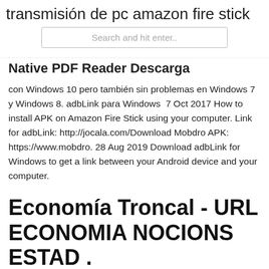transmisión de pc amazon fire stick
Search and hit enter..
Native PDF Reader Descarga
con Windows 10 pero también sin problemas en Windows 7 y Windows 8. adbLink para Windows  7 Oct 2017 How to install APK on Amazon Fire Stick using your computer. Link for adbLink: http://jocala.com/Download Mobdro APK: https://www.mobdro. 28 Aug 2019 Download adbLink for Windows to get a link between your Android device and your computer.
Economía Troncal - URL ECONOMIA NOCIONS ESTAD .
Este PC se está actualizando de Windows 7 o Windows 8.1. Debes volver a instalar Windows 10 en un equipo en que ya activaste correctamente Windows 10. Si estás instalando Windows 10...